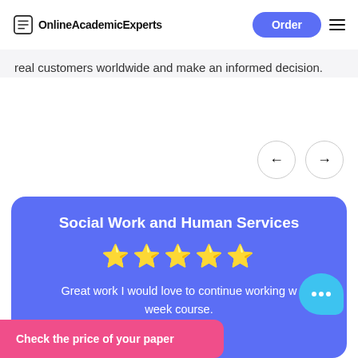OnlineAcademicExperts
real customers worldwide and make an informed decision.
[Figure (illustration): Left and right navigation arrow buttons in circular borders]
Social Work and Human Services
[Figure (other): Five gold star rating]
Great work I would love to continue working w... week course.
Check the price of your paper